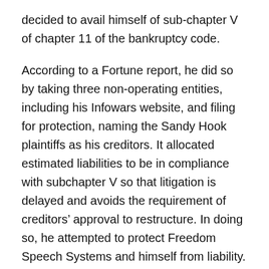decided to avail himself of sub-chapter V of chapter 11 of the bankruptcy code.
According to a Fortune report, he did so by taking three non-operating entities, including his Infowars website, and filing for protection, naming the Sandy Hook plaintiffs as his creditors. It allocated estimated liabilities to be in compliance with subchapter V so that litigation is delayed and avoids the requirement of creditors' approval to restructure. In doing so, he attempted to protect Freedom Speech Systems and himself from liability.
According to a report in Axios, Jones tried “to separate some smaller entities and file them for bankruptcy rather than personally filing or…